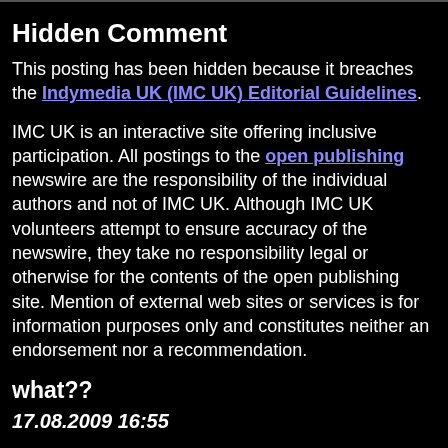Hidden Comment
This posting has been hidden because it breaches the Indymedia UK (IMC UK) Editorial Guidelines.
IMC UK is an interactive site offering inclusive participation. All postings to the open publishing newswire are the responsibility of the individual authors and not of IMC UK. Although IMC UK volunteers attempt to ensure accuracy of the newswire, they take no responsibility legal or otherwise for the contents of the open publishing site. Mention of external web sites or services is for information purposes only and constitutes neither an endorsement nor a recommendation.
what??
17.08.2009 16:55
eh, well yes I would complain if someone was shot. What a stupid thing to say? And well done to all those involved!! Lets hope this is a sign of things to come!!